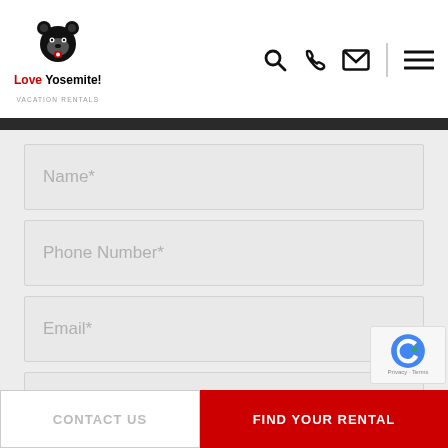[Figure (logo): Love Yosemite! Vacation Rentals logo with bear icon]
[Figure (infographic): Navigation icons: search, phone, email, hamburger menu]
[Figure (infographic): Contact form with fields: Name*, Phone Number*, Email*, Subject*, Message]
Name*
Phone Number*
Email*
Subject*
Message
CONTACT US   FIND YOUR RENTAL